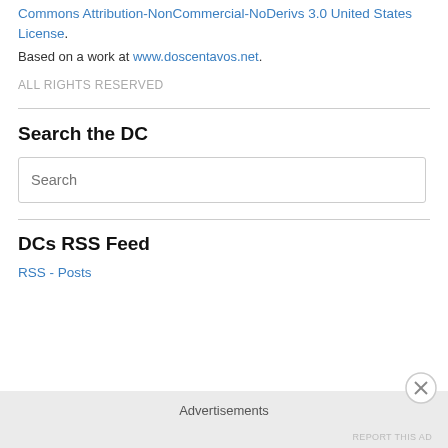Commons Attribution-NonCommercial-NoDerivs 3.0 United States License.
Based on a work at www.doscentavos.net.
ALL RIGHTS RESERVED
Search the DC
Search
DCs RSS Feed
RSS - Posts
Advertisements
REPORT THIS AD